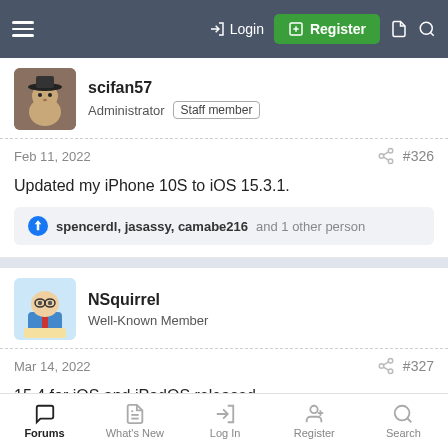Forum navigation header with Login, Register, and search icons
scifan57
Administrator  Staff member
Feb 11, 2022  #326
Updated my iPhone 10S to iOS 15.3.1.
spencerdl, jasassy, camabe216 and 1 other person
NSquirrel
Well-Known Member
Mar 14, 2022  #327
15.4 for iOS and iPadOS released
Forums  What's New  Log In  Register  Search